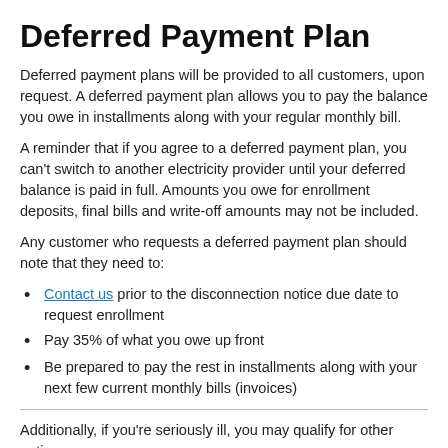Deferred Payment Plan
Deferred payment plans will be provided to all customers, upon request. A deferred payment plan allows you to pay the balance you owe in installments along with your regular monthly bill.
A reminder that if you agree to a deferred payment plan, you can’t switch to another electricity provider until your deferred balance is paid in full. Amounts you owe for enrollment deposits, final bills and write-off amounts may not be included.
Any customer who requests a deferred payment plan should note that they need to:
Contact us prior to the disconnection notice due date to request enrollment
Pay 35% of what you owe up front
Be prepared to pay the rest in installments along with your next few current monthly bills (invoices)
Additionally, if you’re seriously ill, you may qualify for other options.
Contact us today with any additional questions you may have about your account or bill.
For those customers at home, we recommend reading up on tips to